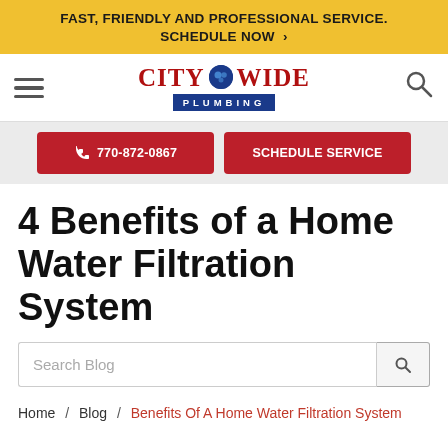FAST, FRIENDLY AND PROFESSIONAL SERVICE. SCHEDULE NOW >
[Figure (logo): City Wide Plumbing logo with hamburger menu and search icon]
770-872-0867  SCHEDULE SERVICE
4 Benefits of a Home Water Filtration System
Search Blog
Home / Blog / Benefits Of A Home Water Filtration System